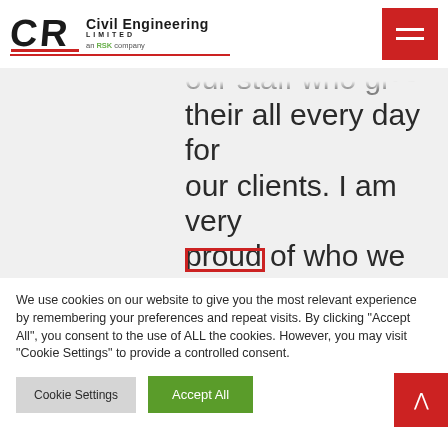[Figure (logo): CR Civil Engineering Limited, an RSK company logo with hamburger menu button]
our staff who give their all every day for our clients. I am very proud of who we are as a business. Our workforce is like a part of the family,
We use cookies on our website to give you the most relevant experience by remembering your preferences and repeat visits. By clicking "Accept All", you consent to the use of ALL the cookies. However, you may visit "Cookie Settings" to provide a controlled consent.